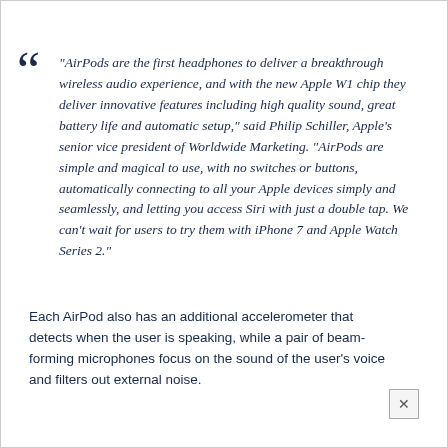"AirPods are the first headphones to deliver a breakthrough wireless audio experience, and with the new Apple W1 chip they deliver innovative features including high quality sound, great battery life and automatic setup," said Philip Schiller, Apple's senior vice president of Worldwide Marketing. "AirPods are simple and magical to use, with no switches or buttons, automatically connecting to all your Apple devices simply and seamlessly, and letting you access Siri with just a double tap. We can't wait for users to try them with iPhone 7 and Apple Watch Series 2."
Each AirPod also has an additional accelerometer that detects when the user is speaking, while a pair of beam-forming microphones focus on the sound of the user's voice and filters out external noise.